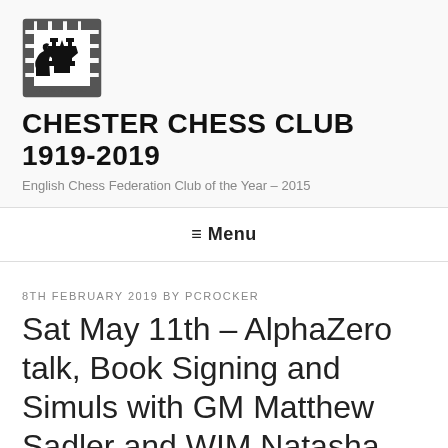[Figure (logo): Chester Chess Club logo: a rook-bordered frame containing a chess king and knight silhouette, with 'chester chess club' text below]
CHESTER CHESS CLUB 1919-2019
English Chess Federation Club of the Year – 2015
≡ Menu
8TH FEBRUARY 2019 BY PCROCKER
Sat May 11th – AlphaZero talk, Book Signing and Simuls with GM Matthew Sadler and WIM Natasha Regan